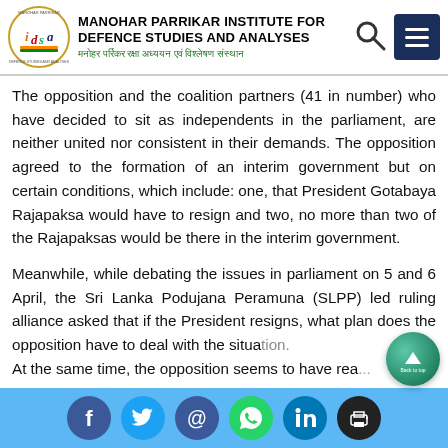MANOHAR PARRIKAR INSTITUTE FOR DEFENCE STUDIES AND ANALYSES
The opposition and the coalition partners (41 in number) who have decided to sit as independents in the parliament, are neither united nor consistent in their demands. The opposition agreed to the formation of an interim government but on certain conditions, which include: one, that President Gotabaya Rajapaksa would have to resign and two, no more than two of the Rajapaksas would be there in the interim government.
Meanwhile, while debating the issues in parliament on 5 and 6 April, the Sri Lanka Podujana Peramuna (SLPP) led ruling alliance asked that if the President resigns, what plan does the opposition have to deal with the situation. At the same time, the opposition seems to have rea...
Social share buttons: Facebook, Twitter, Email, WhatsApp, LinkedIn, Print